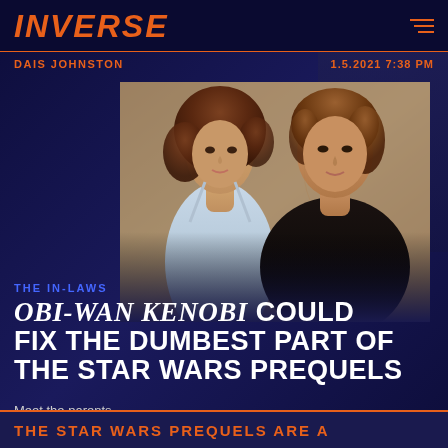INVERSE
DAIS JOHNSTON    1.5.2021 7:38 PM
[Figure (photo): Movie still showing two actors: a woman with curly hair in a silver halter dress and a young man with shoulder-length hair in a dark robe, facing each other]
THE IN-LAWS
OBI-WAN KENOBI COULD FIX THE DUMBEST PART OF THE STAR WARS PREQUELS
Meet the parents.
THE STAR WARS PREQUELS ARE A